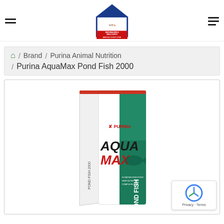New Braunfels Feed & Supply - America's Country Store
Home / Brand / Purina Animal Nutrition / Purina AquaMax Pond Fish 2000
[Figure (photo): Purina AquaMax Pond Fish 2000 bag — white and teal/green bag with Purina AquaMax branding and POND FISH label, plus reCAPTCHA Privacy Terms badge in bottom right corner]